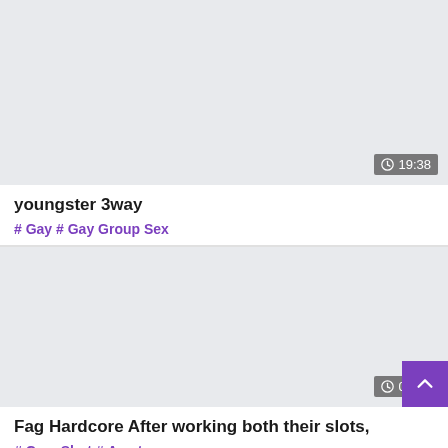[Figure (screenshot): Video thumbnail placeholder with grey background and duration badge showing 19:38]
youngster 3way
# Gay # Gay Group Sex
[Figure (screenshot): Video thumbnail placeholder with grey background and duration badge showing 05:09, with purple scroll-up button]
Fag Hardcore After working both their slots,
# Cum Shot # Amateur